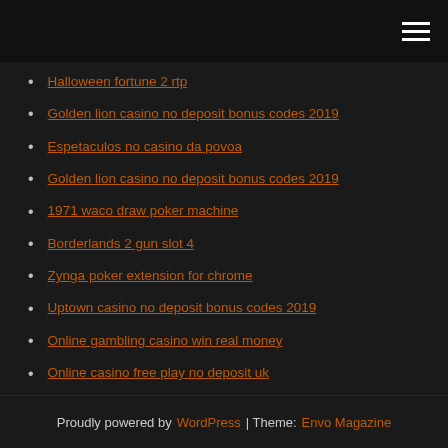[hamburger menu icon]
Halloween fortune 2 rtp
Golden lion casino no deposit bonus codes 2019
Espetaculos no casino da povoa
Golden lion casino no deposit bonus codes 2019
1971 waco draw poker machine
Borderlands 2 gun slot 4
Zynga poker extension for chrome
Uptown casino no deposit bonus codes 2019
Online gambling casino win real money
Online casino free play no deposit uk
Download comic 8 casino kings indowebster
Proudly powered by WordPress | Theme: Envo Magazine